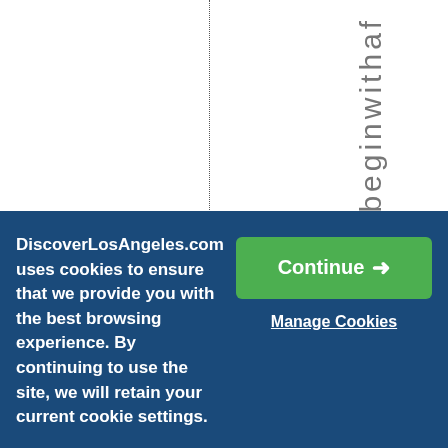[Figure (screenshot): White background with a vertical dotted line and vertical text reading 'untersbeginwithaf' displayed letter by letter going downward, in gray color on the right side of the page.]
DiscoverLosAngeles.com uses cookies to ensure that we provide you with the best browsing experience. By continuing to use the site, we will retain your current cookie settings.
Continue →
Manage Cookies